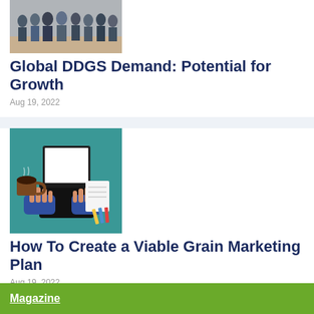[Figure (photo): Group photo of people standing together indoors]
Global DDGS Demand: Potential for Growth
Aug 19, 2022
[Figure (illustration): Illustration of hands typing on a laptop with a notebook and pencils on a teal background]
How To Create a Viable Grain Marketing Plan
Aug 19, 2022
Magazine